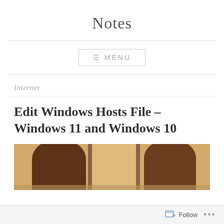Notes
≡ MENU
Internet
Edit Windows Hosts File – Windows 11 and Windows 10
[Figure (photo): Photo showing the back of two people with brown/auburn hair, appearing to look through a window with wooden frames]
Follow ...